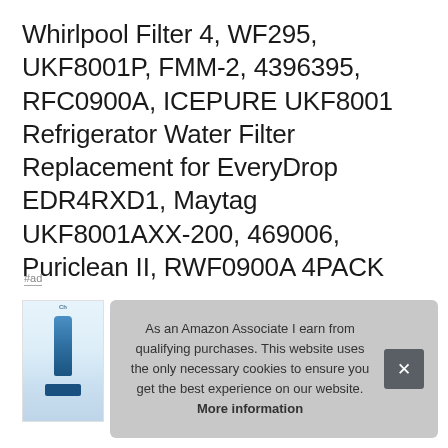Whirlpool Filter 4, WF295, UKF8001P, FMM-2, 4396395, RFC0900A, ICEPURE UKF8001 Refrigerator Water Filter Replacement for EveryDrop EDR4RXD1, Maytag UKF8001AXX-200, 469006, Puriclean II, RWF0900A 4PACK
#ad
[Figure (photo): Product image of a refrigerator water filter in blue packaging, partially visible]
As an Amazon Associate I earn from qualifying purchases. This website uses the only necessary cookies to ensure you get the best experience on our website. More information